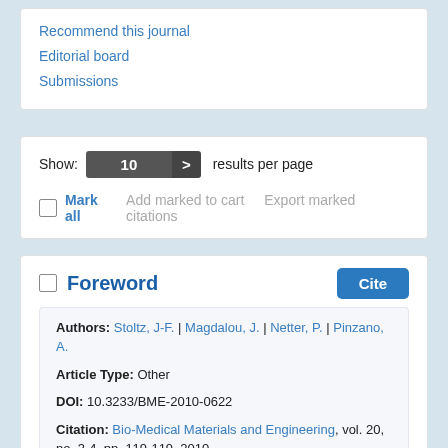Recommend this journal
Editorial board
Submissions
Show: 10 > results per page
Mark all  Add marked to cart  Export marked citations
Foreword
Authors: Stoltz, J-F. | Magdalou, J. | Netter, P. | Pinzano, A.
Article Type: Other
DOI: 10.3233/BME-2010-0622
Citation: Bio-Medical Materials and Engineering, vol. 20, no. 3-4, pp. 119-119, 2010
Price: EUR 27.50  Add to cart